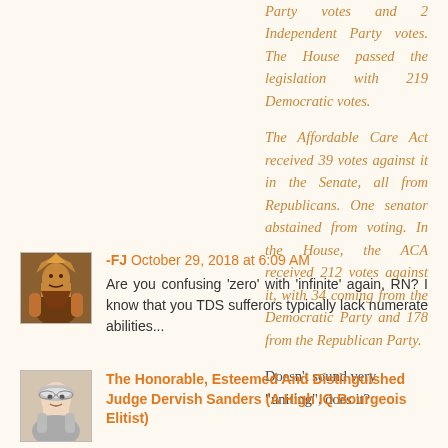Party votes and 2 Independent Party votes. The House passed the legislation with 219 Democratic votes.
The Affordable Care Act received 39 votes against it in the Senate, all from Republicans. One senator abstained from voting. In the House, the ACA received 212 votes against it, with 34 coming from the Democratic Party and 178 from the Republican Party.
Doesn't sound very "uniting", does it?
-FJ October 29, 2018 at 6:09 AM
Are you confusing 'zero' with 'infinite' again, RN? I know that you TDS sufferors typically lack numerate abilities...
The Honorable, Esteemed And Distinguished Judge Dervish Sanders (A High IQ Bourgeois Elitist) October 29, 2018 at 6:09 AM